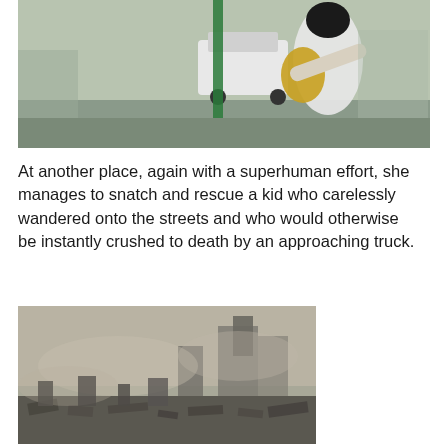[Figure (photo): A woman with long dark hair wearing a white long-sleeve shirt appears to be picking up or rescuing a child in a yellow jacket on a street, with cars and a green pole visible in the background.]
At another place, again with a superhuman effort, she manages to snatch and rescue a kid who carelessly wandered onto the streets and who would otherwise be instantly crushed to death by an approaching truck.
[Figure (photo): A post-apocalyptic or disaster scene showing a destroyed cityscape with rubble, debris, and smoke or fog in the air, with ruined buildings visible in the background.]